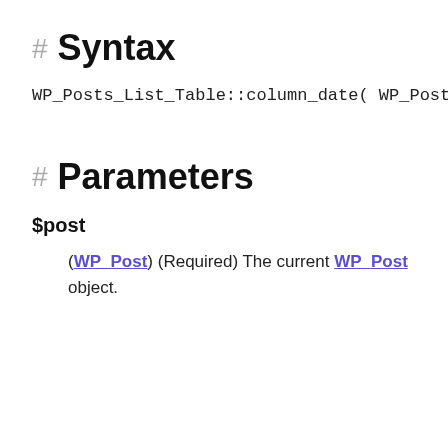# Syntax
WP_Posts_List_Table::column_date( WP_Post $post )
# Parameters
$post
(WP_Post) (Required) The current WP_Post object.